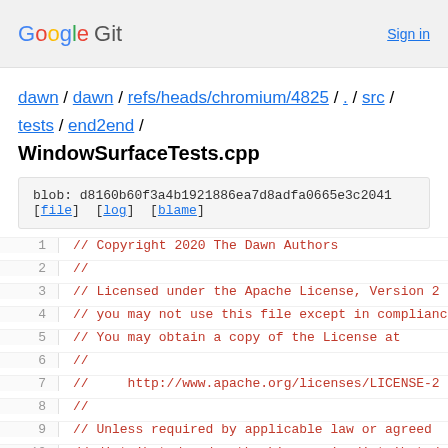Google Git  Sign in
dawn / dawn / refs/heads/chromium/4825 / . / src / tests / end2end /
WindowSurfaceTests.cpp
blob: d8160b60f3a4b1921886ea7d8adfa0665e3c2041 [file] [log] [blame]
// Copyright 2020 The Dawn Authors
//
// Licensed under the Apache License, Version 2
// you may not use this file except in compliance
// You may obtain a copy of the License at
//
//     http://www.apache.org/licenses/LICENSE-2
//
// Unless required by applicable law or agreed
// distributed under the License is distributed